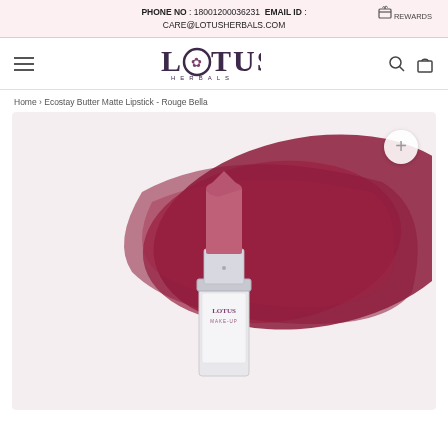PHONE NO : 18001200036231 EMAIL ID : CARE@LOTUSHERBALS.COM | REWARDS
[Figure (logo): Lotus Herbals logo with lotus flower icon and text LOTUS HERBALS]
Home › Ecostay Butter Matte Lipstick - Rouge Bella
[Figure (photo): Lotus Herbals Ecostay Butter Matte Lipstick in Rouge Bella shade - product shown with lipstick bullet and dark rose/burgundy color swatch smear behind it on light pink background]